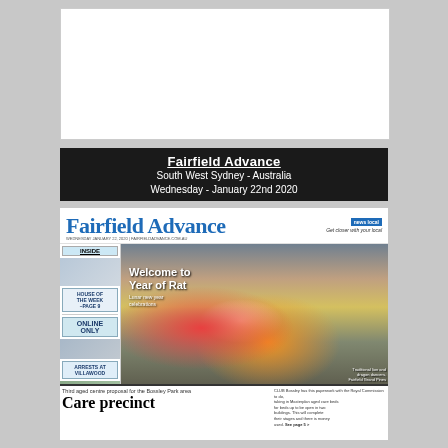[Figure (other): Blank white rectangle at top of page]
Fairfield Advance
South West Sydney - Australia
Wednesday - January 22nd 2020
[Figure (other): Fairfield Advance newspaper front page showing masthead, lion dance photo for Chinese New Year Year of the Rat, sidebar with inside teasers, and bottom story about aged care precinct in Bossley Park]